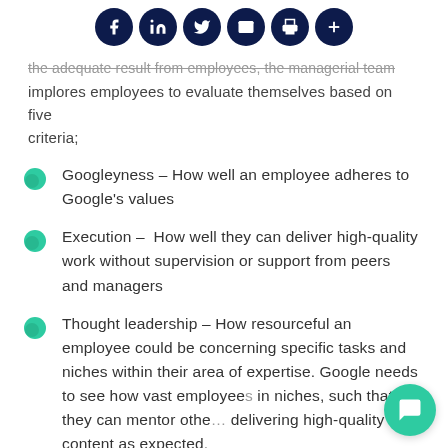[Figure (other): Social media sharing icons bar with Facebook, LinkedIn, Twitter, email, print, and plus buttons on dark navy circular backgrounds]
the adequate result from employees, the managerial team implores employees to evaluate themselves based on five criteria;
Googleyness – How well an employee adheres to Google's values
Execution –  How well they can deliver high-quality work without supervision or support from peers and managers
Thought leadership – How resourceful an employee could be concerning specific tasks and niches within their area of expertise. Google needs to see how vast employees in niches, such that they can mentor othe… delivering high-quality content as expected,